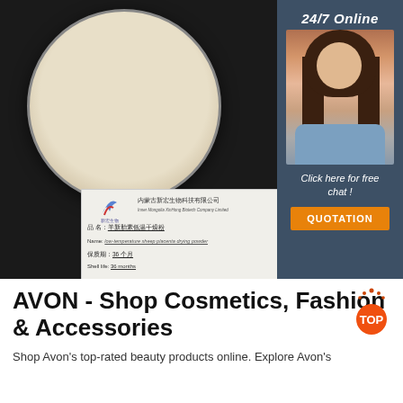[Figure (photo): Product photo showing a petri dish with beige/cream-colored powder (low-temperature sheep placenta drying powder) on a dark background, with a product label card from Inner Mongolia XinHong Biotech Company Limited showing Chinese and English text including product name and shelf life of 36 months]
[Figure (photo): Sidebar panel with dark blue-gray background showing '24/7 Online' text, a smiling female customer service agent wearing a headset, 'Click here for free chat!' text, and an orange QUOTATION button]
AVON - Shop Cosmetics, Fashion & Accessories
Shop Avon's top-rated beauty products online. Explore Avon's
[Figure (logo): TOP badge - orange/red circular badge with the word TOP and decorative dots above it]